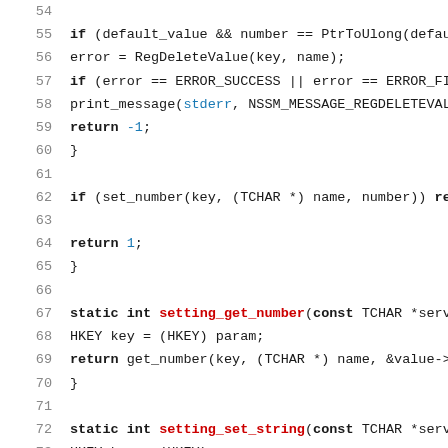[Figure (screenshot): Source code screenshot showing C/C++ code lines 54-75 with syntax highlighting. Keywords in bold, function names in red, special identifiers in blue, line numbers in gray.]